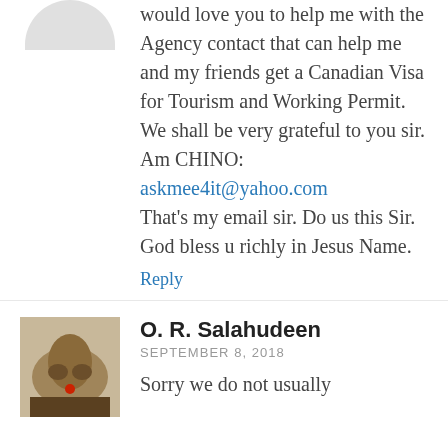would love you to help me with the Agency contact that can help me and my friends get a Canadian Visa for Tourism and Working Permit. We shall be very grateful to you sir.
Am CHINO:
askmee4it@yahoo.com
That's my email sir. Do us this Sir.
God bless u richly in Jesus Name.
Reply
O. R. Salahudeen
SEPTEMBER 8, 2018
Sorry we do not usually